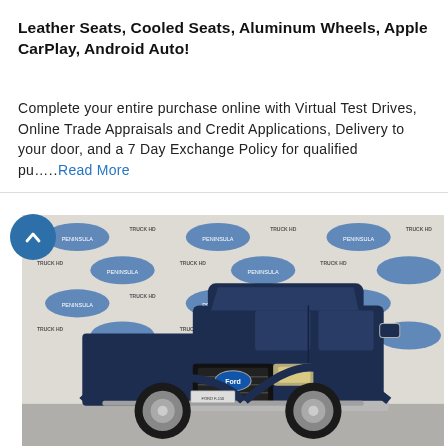Leather Seats, Cooled Seats, Aluminum Wheels, Apple CarPlay, Android Auto!
Complete your entire purchase online with Virtual Test Drives, Online Trade Appraisals and Credit Applications, Delivery to your door, and a 7 Day Exchange Policy for qualified pu….Read More
[Figure (photo): Dark navy blue Ford F-150 pickup truck parked in front of a Peninsula Ford / Truck HD dealer branded step-and-repeat backdrop. The truck is photographed at a slight angle showing the front grille, driver side, and truck bed.]